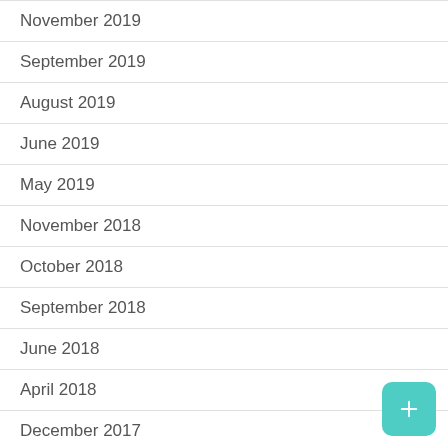November 2019
September 2019
August 2019
June 2019
May 2019
November 2018
October 2018
September 2018
June 2018
April 2018
December 2017
November 2017
October 2017
August 2017